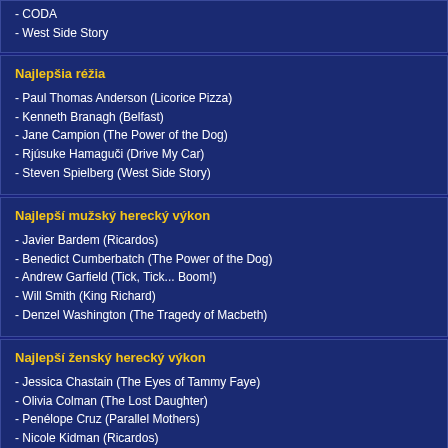- CODA
- West Side Story
Najlepšia réžia
- Paul Thomas Anderson (Licorice Pizza)
- Kenneth Branagh (Belfast)
- Jane Campion (The Power of the Dog)
- Rjúsuke Hamaguči (Drive My Car)
- Steven Spielberg (West Side Story)
Najlepší mužský herecký výkon
- Javier Bardem (Ricardos)
- Benedict Cumberbatch (The Power of the Dog)
- Andrew Garfield (Tick, Tick... Boom!)
- Will Smith (King Richard)
- Denzel Washington (The Tragedy of Macbeth)
Najlepší ženský herecký výkon
- Jessica Chastain (The Eyes of Tammy Faye)
- Olivia Colman (The Lost Daughter)
- Penélope Cruz (Parallel Mothers)
- Nicole Kidman (Ricardos)
- Kristen Stewart (Spencer)